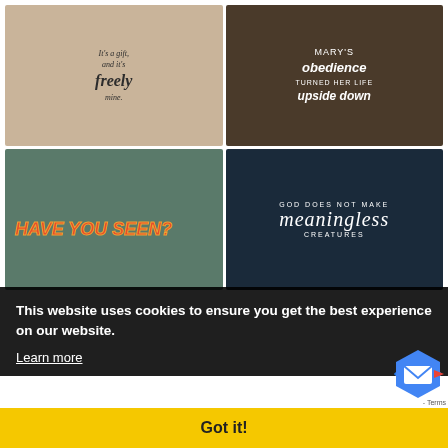[Figure (photo): Wrapped gift with kraft paper and twine, text overlay: It's a gift, and it's freely mine.]
[Figure (photo): Pregnant woman touching belly, dark wood background, text: MARY'S obedience TURNED HER LIFE upside down]
[Figure (photo): Colorful graffiti building from below, text overlay: HAVE YOU SEEN?]
[Figure (photo): Dark snowy bokeh background, text: GOD DOES NOT MAKE meaningless CREATURES]
This website uses cookies to ensure you get the best experience on our website.
Learn more
Got it!